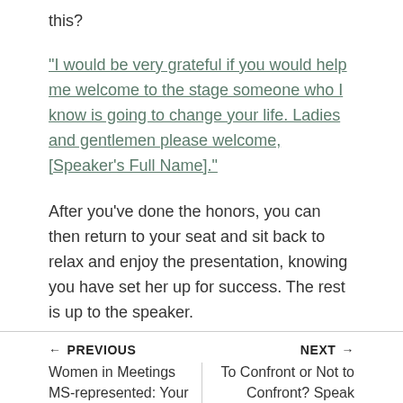this?
"I would be very grateful if you would help me welcome to the stage someone who I know is going to change your life. Ladies and gentlemen please welcome, [Speaker's Full Name]."
After you've done the honors, you can then return to your seat and sit back to relax and enjoy the presentation, knowing you have set her up for success. The rest is up to the speaker.
← PREVIOUS | NEXT →
Women in Meetings MS-represented: Your | To Confront or Not to Confront? Speak